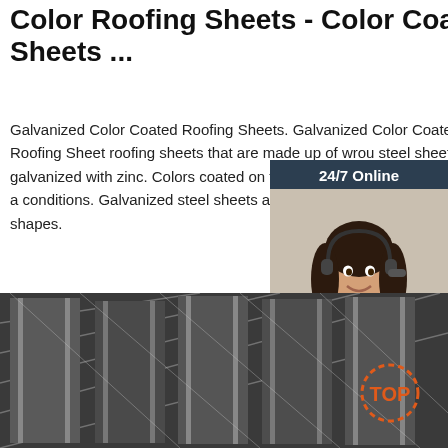Color Roofing Sheets - Color Coated Roofing Sheets ...
Galvanized Color Coated Roofing Sheets. Galvanized Color Coated Roofing Sheets roofing sheets that are made up of wrought steel sheet galvanized with zinc. Colors are coated on these sheets as per the use and conditions. Galvanized steel sheets are available in sinusoidal shapes.
[Figure (photo): Customer service representative with headset, 24/7 Online chat panel with quotation button]
Get Price
[Figure (photo): Close-up photo of metal roofing sheets with corrugated/ribbed profile, dark grey metallic colour, with a TOP badge overlay]